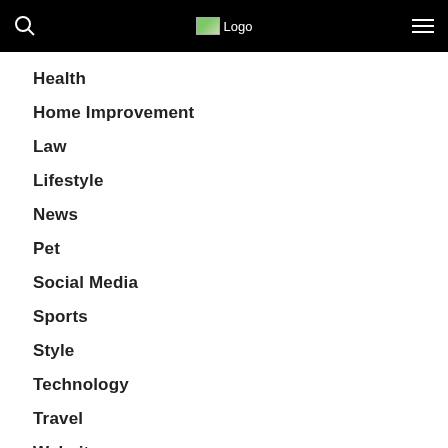Logo
Health
Home Improvement
Law
Lifestyle
News
Pet
Social Media
Sports
Style
Technology
Travel
Website